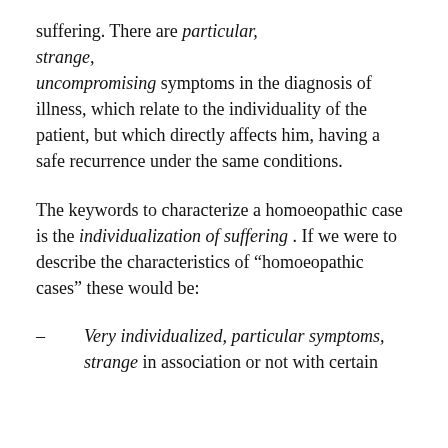suffering. There are particular, strange, uncompromising symptoms in the diagnosis of illness, which relate to the individuality of the patient, but which directly affects him, having a safe recurrence under the same conditions.
The keywords to characterize a homoeopathic case is the individualization of suffering . If we were to describe the characteristics of “homoeopathic cases” these would be:
–   Very individualized, particular symptoms, strange in association or not with certain